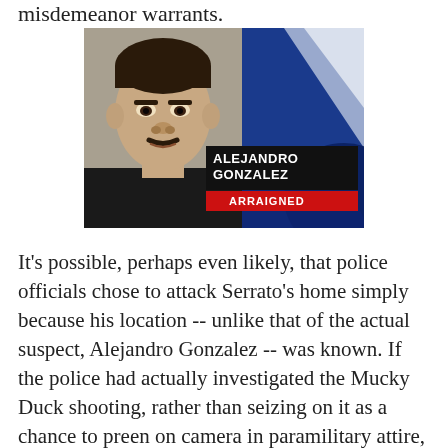misdemeanor warrants.
[Figure (photo): TV news screenshot showing Alejandro Gonzalez mugshot with name chyron reading 'ALEJANDRO GONZALEZ / ARRAIGNED' on a blue background]
It’s possible, perhaps even likely, that police officials chose to attack Serrato’s home simply because his location -- unlike that of the actual suspect, Alejandro Gonzalez -- was known. If the police had actually investigated the Mucky Duck shooting, rather than seizing on it as a chance to preen on camera in paramilitary attire, they would have learned that Gonzalez was not a threat to the public.